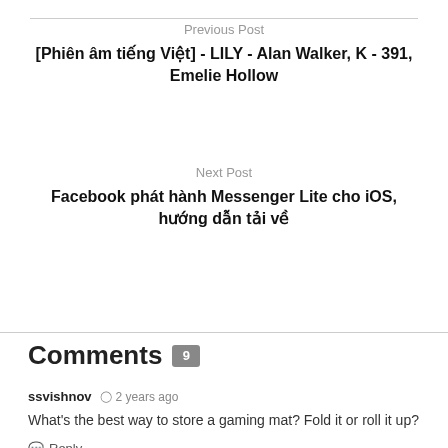Previous Post
[Phiên âm tiếng Việt] - LILY - Alan Walker, K - 391, Emelie Hollow
Next Post
Facebook phát hành Messenger Lite cho iOS, hướng dẫn tải về
Comments 9
ssvishnov  2 years ago
What's the best way to store a gaming mat? Fold it or roll it up?
Reply